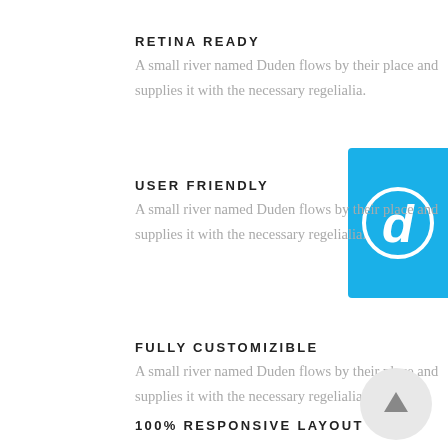RETINA READY
A small river named Duden flows by their place and supplies it with the necessary regelialia.
[Figure (logo): Blue rounded rectangle with white outlined letter 'd' logo]
USER FRIENDLY
A small river named Duden flows by their place and supplies it with the necessary regelialia.
FULLY CUSTOMIZIBLE
A small river named Duden flows by their place and supplies it with the necessary regelialia.
[Figure (illustration): Light gray circle with upward pointing arrow (scroll-to-top button)]
100% RESPONSIVE LAYOUT